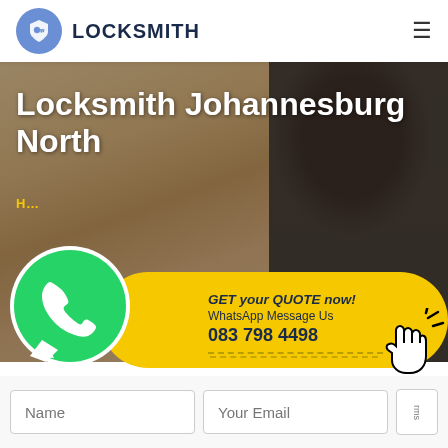[Figure (logo): Blue circle with shield/key icon and bold text LOCKSMITH beside it, with hamburger menu icon on right]
[Figure (photo): Hero image showing a person working on a wooden door/cabinet, overlaid with the title text]
Locksmith Johannesburg North
[Figure (infographic): WhatsApp green icon on left, yellow rounded pill CTA strip reading GET your QUOTE now! WhatsApp Message Us 083 798 4498, with clicking hand cursor on right]
GET your QUOTE now!
WhatsApp Message Us
083 798 4498
[Figure (screenshot): Form strip at bottom with Name input and Your Email input fields, plus a partial third input with label rms]